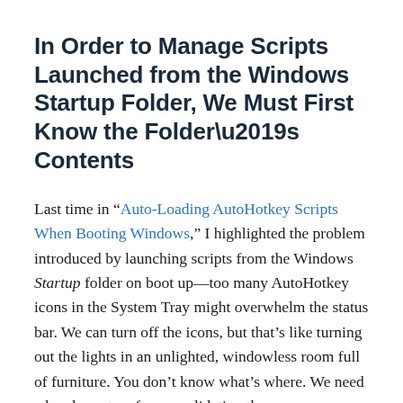In Order to Manage Scripts Launched from the Windows Startup Folder, We Must First Know the Folder's Contents
Last time in “Auto-Loading AutoHotkey Scripts When Booting Windows,” I highlighted the problem introduced by launching scripts from the Windows Startup folder on boot up—too many AutoHotkey icons in the System Tray might overwhelm the status bar. We can turn off the icons, but that’s like turning out the lights in an unlighted, windowless room full of furniture. You don’t know what’s where. We need a handy system for consolidating the